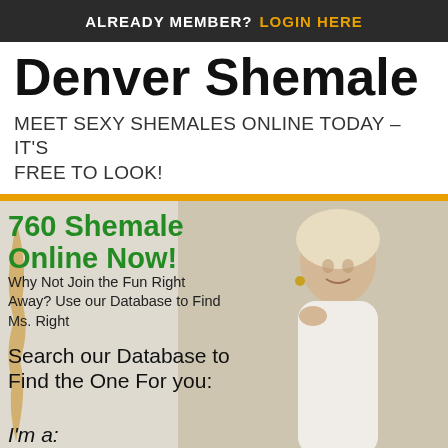ALREADY MEMBER? LOGIN HERE
Denver Shemale
MEET SEXY SHEMALES ONLINE TODAY – IT'S FREE TO LOOK!
[Figure (photo): Photo of a blonde woman smiling, wearing a white shirt, with decorative gold/yellow accent on left side. Background is light gray/beige.]
760 Shemale Online Now!
Why Not Join the Fun Right Away? Use our Database to Find Ms. Right
Search our Database to Find the One For you:
I'm a: